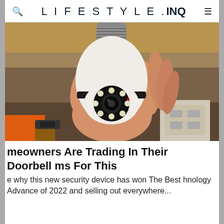LIFESTYLE.INQ
[Figure (photo): A hand holding a white light-bulb shaped security camera with a circular lens and LED lights on the front, photographed in an indoor setting.]
meowners Are Trading In Their Doorbell ms For This
e why this new security device has won The Best hnology Advance of 2022 and selling out everywhere...